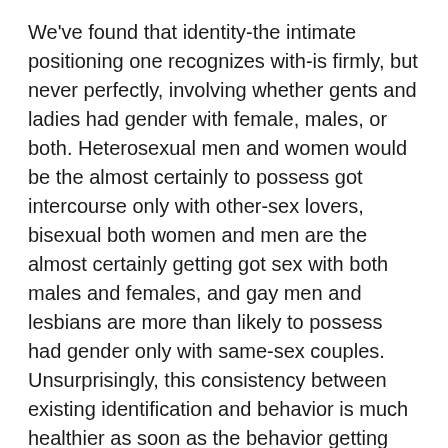We've found that identity-the intimate positioning one recognizes with-is firmly, but never perfectly, involving whether gents and ladies had gender with female, males, or both. Heterosexual men and women would be the almost certainly to possess got intercourse only with other-sex lovers, bisexual both women and men are the almost certainly getting got sex with both males and females, and gay men and lesbians are more than likely to possess had gender only with same-sex couples. Unsurprisingly, this consistency between existing identification and behavior is much healthier as soon as the behavior getting inquired about is in the last year in place of during the whole life time.